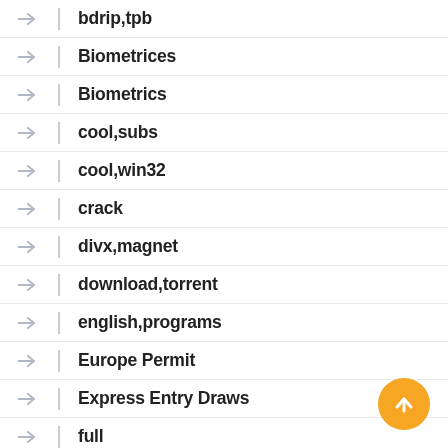bdrip,tpb
Biometrices
Biometrics
cool,subs
cool,win32
crack
divx,magnet
download,torrent
english,programs
Europe Permit
Express Entry Draws
full